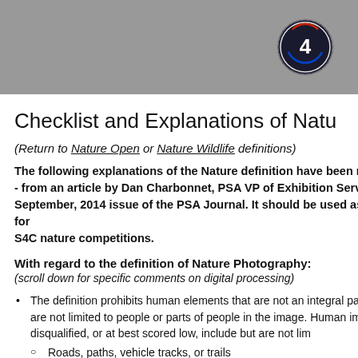[Figure (logo): S4C circular logo with number 4 in center, dark background with colored accents]
Checklist and Explanations of Natu
(Return to Nature Open or Nature Wildlife definitions)
The following explanations of the Nature definition have been modified - from an article by Dan Charbonnet, PSA VP of Exhibition Services, September, 2014 issue of the PSA Journal. It should be used as a checklist for S4C nature competitions.
With regard to the definition of Nature Photography:
(scroll down for specific comments on digital processing)
The definition prohibits human elements that are not an integral part of the scene. Human elements are not limited to people or parts of people in the image. Human elements that cause images to be disqualified, or at best scored low, include but are not limited to:
Roads, paths, vehicle tracks, or trails
Fences and fence posts
Signs
Power Poles
Wires
Buildings (or parts of buildings)